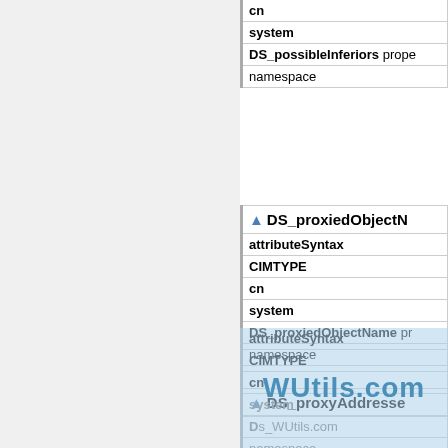| cn |
| system |
| DS_possibleInferiors prope... |
| namespace |
| ▲ DS_proxiedObjectN... |
| --- |
| attributeSyntax |
| CIMTYPE |
| cn |
| system |
| DS_proxiedObjectName pr... |
| namespace |
| ▲ DS_proxyAddresse... |
| --- |
| attributeSyntax |
| CIMTYPE |
| cn |
| system |
| DS_proxyAddresses... |
| namespace |